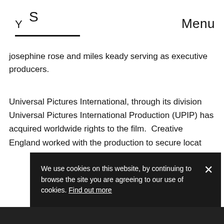S Y Menu
Josephine Rose and Miles Keady serving as creative producers.
Universal Pictures International, through its division Universal Pictures International Production (UPIP) has acquired worldwide rights to the film.  Creative England worked with the production to secure locat
We use cookies on this website, by continuing to browse the site you are agreeing to our use of cookies. Find out more